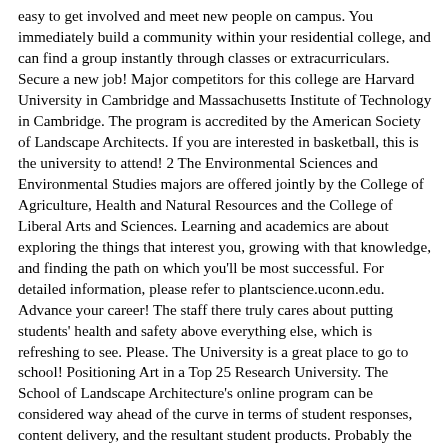easy to get involved and meet new people on campus. You immediately build a community within your residential college, and can find a group instantly through classes or extracurriculars. Secure a new job! Major competitors for this college are Harvard University in Cambridge and Massachusetts Institute of Technology in Cambridge. The program is accredited by the American Society of Landscape Architects. If you are interested in basketball, this is the university to attend! 2 The Environmental Sciences and Environmental Studies majors are offered jointly by the College of Agriculture, Health and Natural Resources and the College of Liberal Arts and Sciences. Learning and academics are about exploring the things that interest you, growing with that knowledge, and finding the path on which you'll be most successful. For detailed information, please refer to plantscience.uconn.edu. Advance your career! The staff there truly cares about putting students' health and safety above everything else, which is refreshing to see. Please. The University is a great place to go to school! Positioning Art in a Top 25 Research University. The School of Landscape Architecture's online program can be considered way ahead of the curve in terms of student responses, content delivery, and the resultant student products. Probably the most amazing thing about Conn is that most classes are so small, and because of this, you can get to know your professors quite well. Through seminars, studio projects and internships, students learn to apply theory to actual case studies.